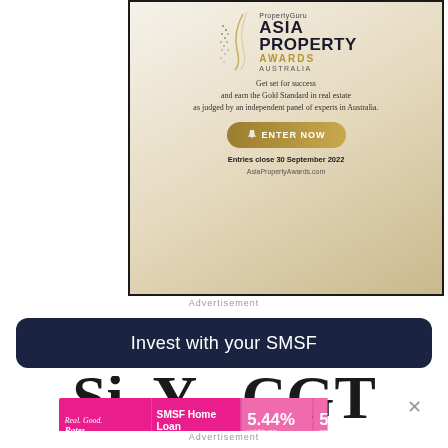[Figure (illustration): PropertyGuru Asia Property Awards Australia advertisement. Shows logo with decorative dots/swirl, tagline 'Get set for success and earn the Gold Standard in real estate as judged by an independent panel of experts in Australia.', a gold 'ENTER NOW' button, text 'Entries close 30 September 2022', and URL 'AsiaPropertyAwards.com'. Background is a warm gold/cream gradient.]
Advertisement
Invest with your SMSF
[Figure (illustration): Partially visible large letters appearing to spell out words — 'Si', 'Y', 'CGT' — in large black serif bold font, partially cropped at bottom of frame.]
[Figure (infographic): Pink advertisement banner for loans.com.au. Left section (dark pink): 'Real. Good. Rates.' italic cursive text. Middle: 'SMSF Home Loan'. Rate sections: '5.44% variable rate p.a.*' and '5.45% comparison rate p.a.*'. Right white section: 'loans.com.au' logo in pink. Bottom disclaimer: '*Comparison rate warning & conditions apply'.]
Advertisement